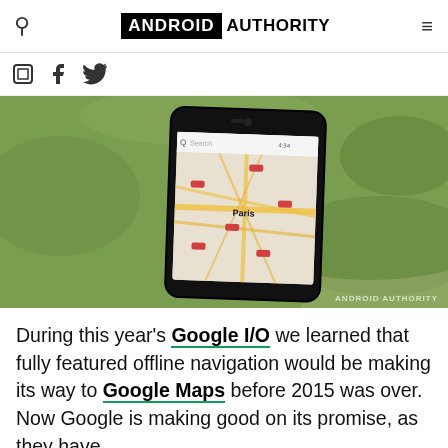ANDROID AUTHORITY
[Figure (photo): Hand holding a smartphone displaying Google Maps showing Paris area, photographed outdoors with green grass in background. Watermark 'ANDROID AUTHORITY' in lower right.]
During this year's Google I/O we learned that fully featured offline navigation would be making its way to Google Maps before 2015 was over. Now Google is making good on its promise, as they have